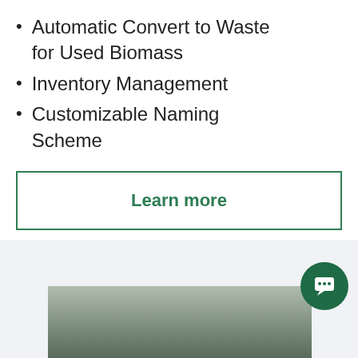Automatic Convert to Waste for Used Biomass
Inventory Management
Customizable Naming Scheme
Learn more
[Figure (photo): Bottom section showing a light grey background with a partial interior/warehouse photograph and a green chat bubble icon in the bottom right corner.]